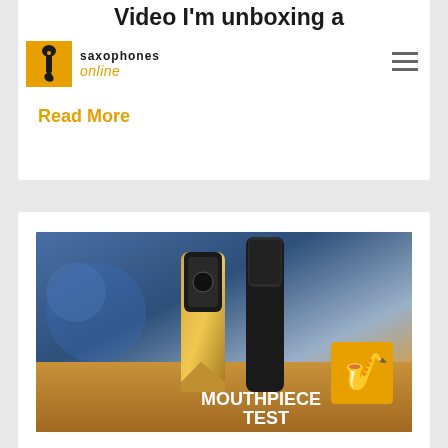saxophones online
Video I'm unboxing a new saxophones online
Read More
[Figure (photo): Two saxophone mouthpieces (one gold/black, one black) standing on a wooden surface with blue background lighting and a 'MOUTHPIECE TEST' overlay text with saxophone logo badge]
Bari Sax Mouthpiece Shoot Out